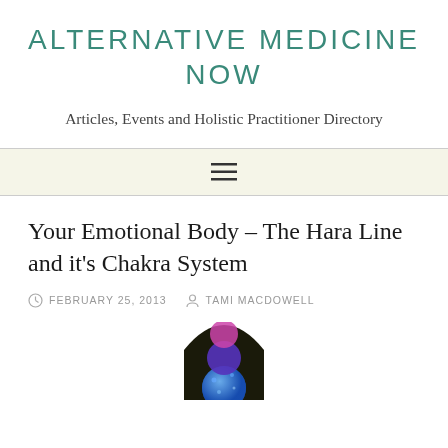ALTERNATIVE MEDICINE NOW
Articles, Events and Holistic Practitioner Directory
[Figure (other): Navigation menu bar with hamburger icon (three horizontal lines) on a cream/beige background]
Your Emotional Body – The Hara Line and it's Chakra System
FEBRUARY 25, 2013   TAMI MACDOWELL
[Figure (illustration): Partial view of a chakra/hara line illustration showing colorful circles (pink, blue/purple) on a dark background, visible from approximately the lower portion upward]